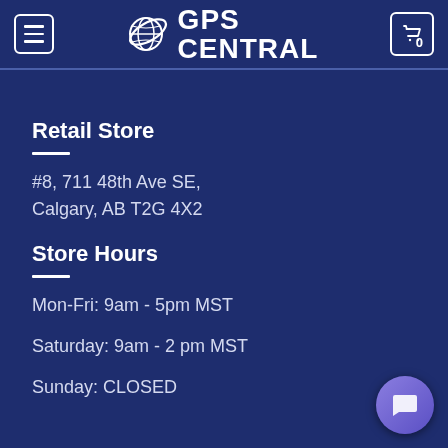GPS CENTRAL
Retail Store
#8, 711 48th Ave SE,
Calgary, AB T2G 4X2
Store Hours
Mon-Fri: 9am - 5pm MST
Saturday: 9am - 2 pm MST
Sunday: CLOSED
[Figure (illustration): Chat bubble widget in bottom right corner]